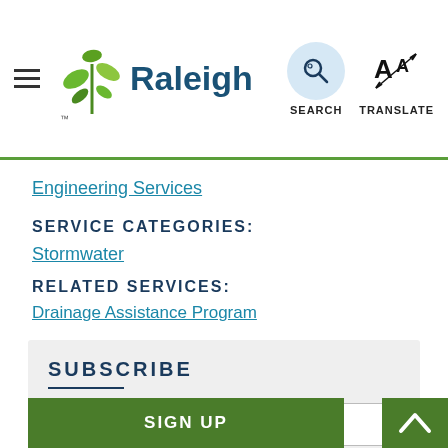[Figure (logo): City of Raleigh logo with green leaf/plant icon and 'Raleigh' text in dark blue]
Engineering Services
SERVICE CATEGORIES:
Stormwater
RELATED SERVICES:
Drainage Assistance Program
SUBSCRIBE
email@address.com
SIGN UP